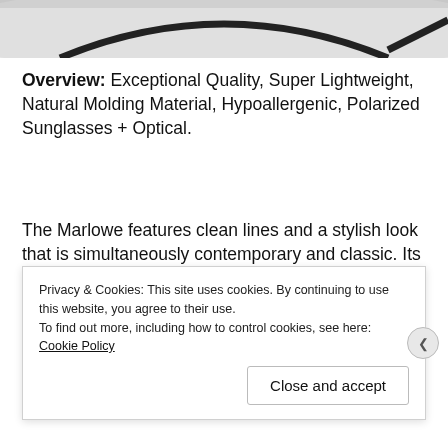[Figure (photo): Partial view of dark-framed glasses/sunglasses against a white background, showing the frame and lens at the top of the page.]
Overview: Exceptional Quality, Super Lightweight, Natural Molding Material, Hypoallergenic, Polarized Sunglasses + Optical.
The Marlowe features clean lines and a stylish look that is simultaneously contemporary and classic. Its deep warm earth tones are constantly in flux as the sunrays filter through.
Privacy & Cookies: This site uses cookies. By continuing to use this website, you agree to their use.
To find out more, including how to control cookies, see here: Cookie Policy

Close and accept